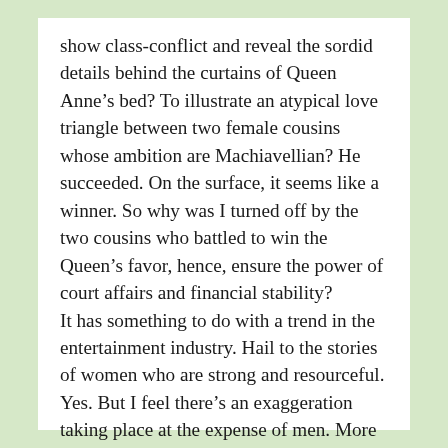show class-conflict and reveal the sordid details behind the curtains of Queen Anne’s bed? To illustrate an atypical love triangle between two female cousins whose ambition are Machiavellian? He succeeded. On the surface, it seems like a winner. So why was I turned off by the two cousins who battled to win the Queen’s favor, hence, ensure the power of court affairs and financial stability?
It has something to do with a trend in the entertainment industry. Hail to the stories of women who are strong and resourceful. Yes. But I feel there’s an exaggeration taking place at the expense of men. More films than ever showcase women as corrupt, aggressive, and savage while men are utter idiots. In The Favourite, for example, the scene where the